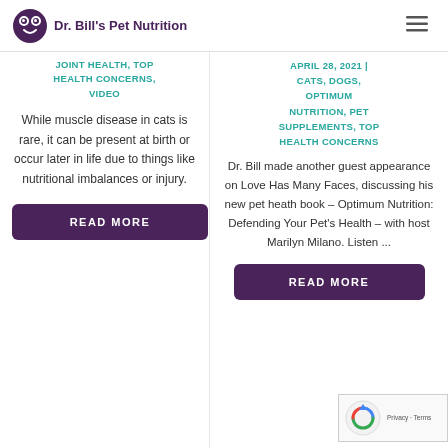Dr. Bill's Pet Nutrition
JOINT HEALTH, TOP HEALTH CONCERNS, VIDEO
While muscle disease in cats is rare, it can be present at birth or occur later in life due to things like nutritional imbalances or injury.
READ MORE
APRIL 28, 2021 | CATS, DOGS, OPTIMUM NUTRITION, PET SUPPLEMENTS, TOP HEALTH CONCERNS
Dr. Bill made another guest appearance on Love Has Many Faces, discussing his new pet heath book – Optimum Nutrition: Defending Your Pet's Health – with host Marilyn Milano. Listen ...
READ MORE